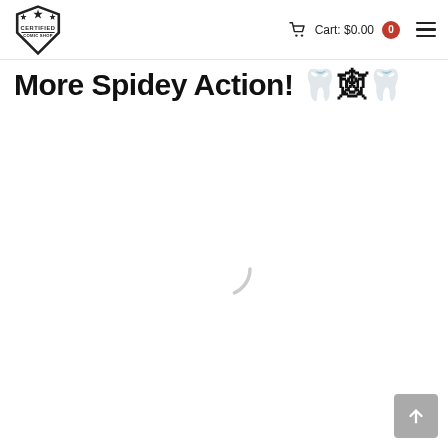Certified Comic Shop | Cart: $0.00 | 0
More Spidey Action! 🕷️🕸️🕷️
[Figure (other): Loading spinner — a thin-stroke circle outline indicating content is loading]
[Figure (other): Back-to-top button with upward arrow icon, gray square button in bottom-right corner]